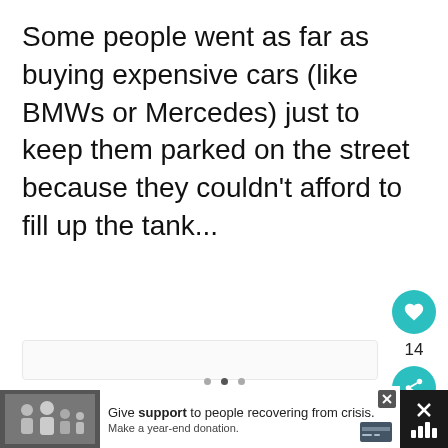Some people went as far as buying expensive cars (like BMWs or Mercedes) just to keep them parked on the street because they couldn't afford to fill up the tank...
[Figure (other): Image carousel area with navigation dots and like/share interaction buttons on the right]
[Figure (screenshot): Footer advertisement bar: family photo on left, text 'Give support to people recovering from crisis. Make a year-end donation.' with close X button, and a close/menu icon on the right]